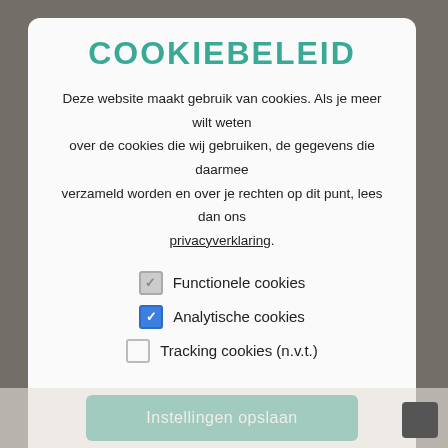COOKIEBELEID
Deze website maakt gebruik van cookies. Als je meer wilt weten over de cookies die wij gebruiken, de gegevens die daarmee verzameld worden en over je rechten op dit punt, lees dan ons privacyverklaring.
Functionele cookies
Analytische cookies
Tracking cookies (n.v.t.)
Instellingen opslaan